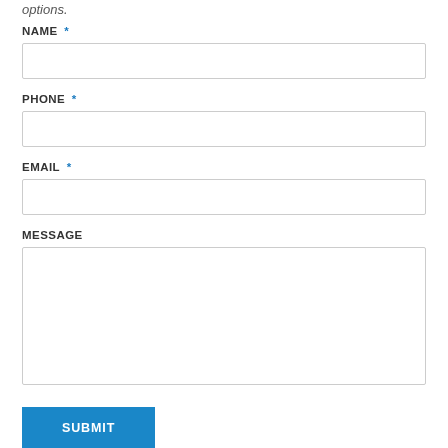options.
NAME *
PHONE *
EMAIL *
MESSAGE
SUBMIT